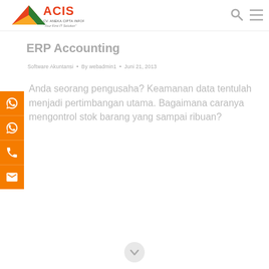[Figure (logo): ACIS logo with arrow and company name 'Your First IT Solution']
ERP Accounting
Software Akuntansi • By webadmin1 • Juni 21, 2013
Anda seorang pengusaha? Keamanan data tentulah menjadi pertimbangan utama. Bagaimana caranya mengontrol stok barang yang sampai ribuan?